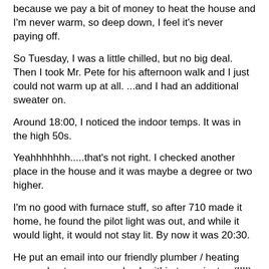because we pay a bit of money to heat the house and I'm never warm, so deep down, I feel it's never paying off.
So Tuesday, I was a little chilled, but no big deal. Then I took Mr. Pete for his afternoon walk and I just could not warm up at all.  ...and I had an additional sweater on.
Around 18:00, I noticed the indoor temps. It was in the high 50s.
Yeahhhhhhh.....that's not right. I checked another place in the house and it was maybe a degree or two higher.
I'm no good with furnace stuff, so after 710 made it home, he found the pilot light was out, and while it would light, it would not stay lit. By now it was 20:30.
He put an email into our friendly plumber / heating guy and got a response back within two minutes (!!!!) at 20:45 (!!!!!!!!).
That, is service.